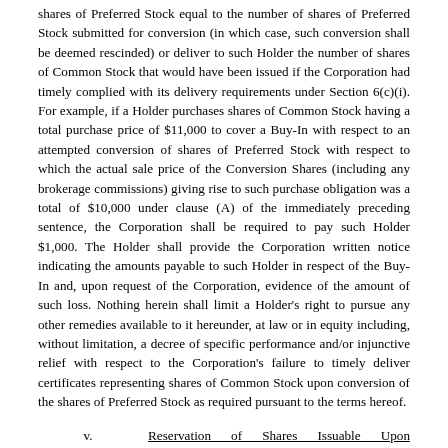shares of Preferred Stock equal to the number of shares of Preferred Stock submitted for conversion (in which case, such conversion shall be deemed rescinded) or deliver to such Holder the number of shares of Common Stock that would have been issued if the Corporation had timely complied with its delivery requirements under Section 6(c)(i). For example, if a Holder purchases shares of Common Stock having a total purchase price of $11,000 to cover a Buy-In with respect to an attempted conversion of shares of Preferred Stock with respect to which the actual sale price of the Conversion Shares (including any brokerage commissions) giving rise to such purchase obligation was a total of $10,000 under clause (A) of the immediately preceding sentence, the Corporation shall be required to pay such Holder $1,000. The Holder shall provide the Corporation written notice indicating the amounts payable to such Holder in respect of the Buy-In and, upon request of the Corporation, evidence of the amount of such loss. Nothing herein shall limit a Holder's right to pursue any other remedies available to it hereunder, at law or in equity including, without limitation, a decree of specific performance and/or injunctive relief with respect to the Corporation's failure to timely deliver certificates representing shares of Common Stock upon conversion of the shares of Preferred Stock as required pursuant to the terms hereof.
v. Reservation of Shares Issuable Upon Conversion. The Corporation covenants that it will at all times reserve and keep available out of its authorized and